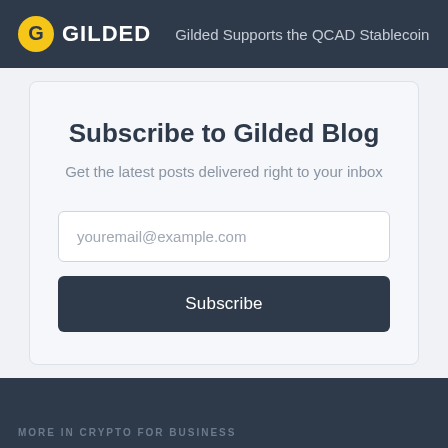GILDED — Gilded Supports the QCAD Stablecoin to
Subscribe to Gilded Blog
Get the latest posts delivered right to your inbox
youremail@example.com
Subscribe
MORE IN CRYPTO FOR BUSINESS